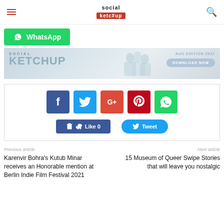Social Ketchup
[Figure (logo): WhatsApp share button with green background]
[Figure (infographic): Social Ketchup AUG EDITION 2022 magazine banner with Download Now button]
[Figure (infographic): Social sharing buttons: Facebook, Twitter, Google+, Pinterest, WhatsApp, Like 0, Tweet]
Previous article
Next article
Karenvir Bohra's Kutub Minar receives an Honorable mention at Berlin Indie Film Festival 2021
15 Museum of Queer Swipe Stories that will leave you nostalgic